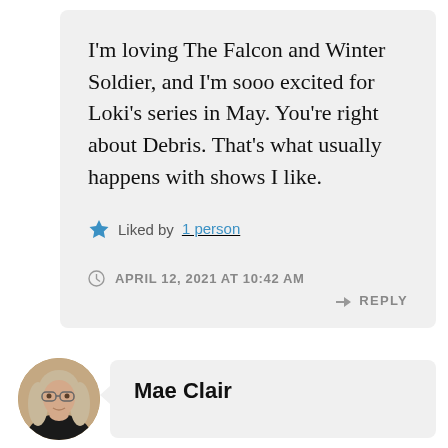I'm loving The Falcon and Winter Soldier, and I'm sooo excited for Loki's series in May. You're right about Debris. That's what usually happens with shows I like.
★ Liked by 1 person
APRIL 12, 2021 AT 10:42 AM
↪ REPLY
[Figure (photo): Circular avatar photo of Mae Clair, a woman with long blonde/gray hair and glasses]
Mae Clair